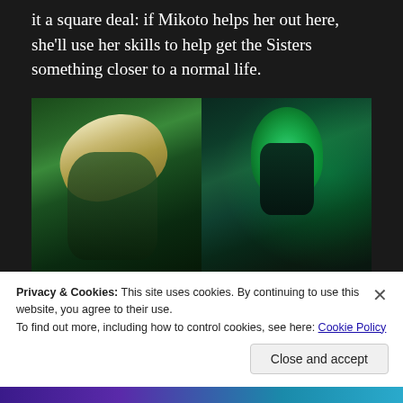it a square deal: if Mikoto helps her out here, she'll use her skills to help get the Sisters something closer to a normal life.
[Figure (illustration): Anime screenshot showing two panels: left panel with a character with light/blonde hair in green-tinted lighting, right panel with a dark-haired character shown upside down with glowing green eyes against a dark background.]
After assuring Kuroko she's not going out to cheat on
Privacy & Cookies: This site uses cookies. By continuing to use this website, you agree to their use.
To find out more, including how to control cookies, see here: Cookie Policy
Close and accept